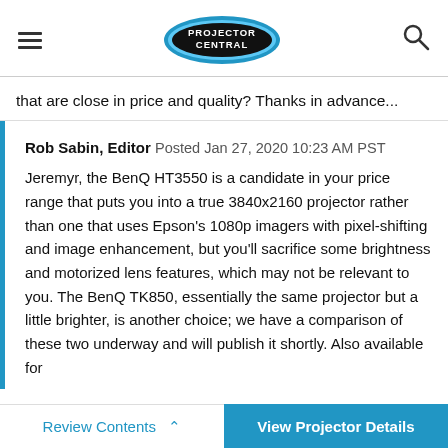PROJECTOR CENTRAL
that are close in price and quality? Thanks in advance...
Rob Sabin, Editor  Posted Jan 27, 2020 10:23 AM PST

Jeremyr, the BenQ HT3550 is a candidate in your price range that puts you into a true 3840x2160 projector rather than one that uses Epson's 1080p imagers with pixel-shifting and image enhancement, but you'll sacrifice some brightness and motorized lens features, which may not be relevant to you. The BenQ TK850, essentially the same projector but a little brighter, is another choice; we have a comparison of these two underway and will publish it shortly. Also available for slightly less money is the Epson HC3800, which is a bit
Review Contents  ^    View Projector Details